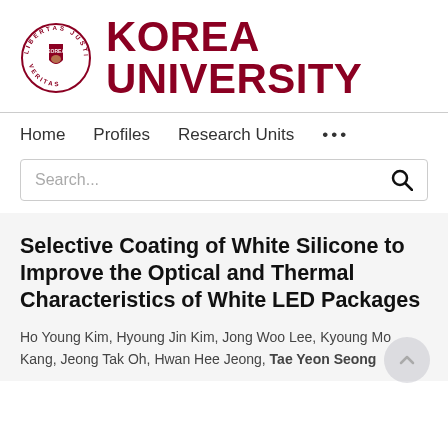[Figure (logo): Korea University logo: circular seal with text LIBERTAS JUSTITIA VERITAS around a shield bearing a tiger, next to large bold dark red text reading KOREA UNIVERSITY]
Home   Profiles   Research Units   ...
Search...
Selective Coating of White Silicone to Improve the Optical and Thermal Characteristics of White LED Packages
Ho Young Kim, Hyoung Jin Kim, Jong Woo Lee, Kyoung Mo Kang, Jeong Tak Oh, Hwan Hee Jeong, Tae Yeon Seong